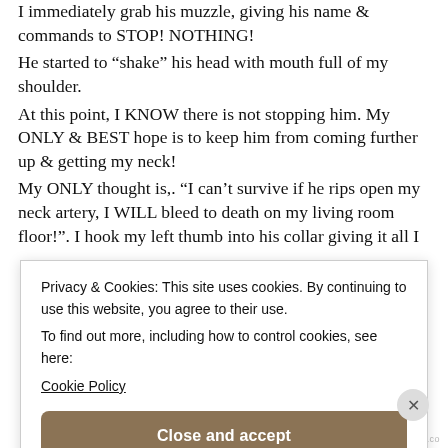I immediately grab his muzzle, giving his name & commands to STOP! NOTHING!
He started to “shake” his head with mouth full of my shoulder.
At this point, I KNOW there is not stopping him. My ONLY & BEST hope is to keep him from coming further up & getting my neck!
My ONLY thought is,. “I can’t survive if he rips open my neck artery, I WILL bleed to death on my living room floor!”. I hook my left thumb into his collar giving it all I
Privacy & Cookies: This site uses cookies. By continuing to use this website, you agree to their use.
To find out more, including how to control cookies, see here: Cookie Policy
Close and accept